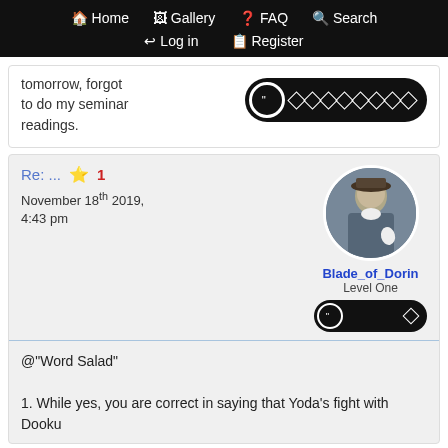Home  Gallery  FAQ  Search  Log in  Register
tomorrow, forgot to do my seminar readings.
Re: ...  ★ 1
November 18th 2019, 4:43 pm
[Figure (photo): Avatar of user Blade_of_Dorin showing a person in colonial-era clothing holding something white]
Blade_of_Dorin
Level One
@"Word Salad"

1. While yes, you are correct in saying that Yoda's fight with Dooku